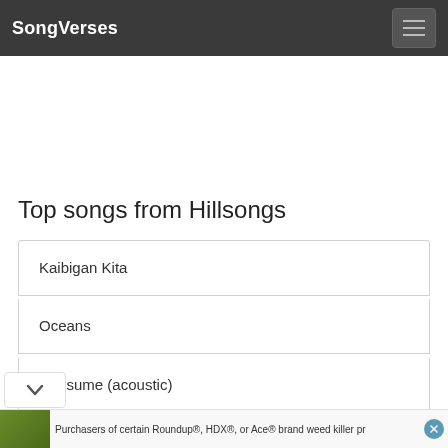SongVerses
Top songs from Hillsongs
Kaibigan Kita
Oceans
Consume (acoustic)
Oh The Glory Of Your Presence
Purchasers of certain Roundup®, HDX®, or Ace® brand weed killer pr...